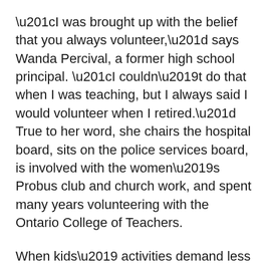“I was brought up with the belief that you always volunteer,” says Wanda Percival, a former high school principal. “I couldn’t do that when I was teaching, but I always said I would volunteer when I retired.” True to her word, she chairs the hospital board, sits on the police services board, is involved with the women’s Probus club and church work, and spent many years volunteering with the Ontario College of Teachers.
When kids’ activities demand less of their volunteer time, many women turn their energy to causes that benefit the wider community. “I can see myself doing that,” says Koty. “There’s so much that you can help out with.”
Barton-Dyke says she’s optimistic about the future. “We get calls from both men and women